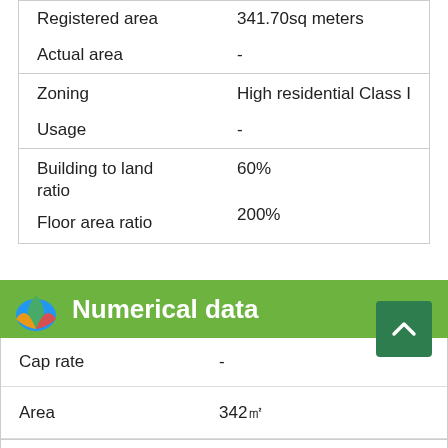| Field | Value |
| --- | --- |
| Registered area | 341.70sq meters |
| Actual area | - |
| Zoning | High residential Class I |
| Usage | - |
| Building to land ratio | 60% |
| Floor area ratio | 200% |
Numerical data
| Field | Value |
| --- | --- |
| Cap rate | - |
| Area | 342㎡ |
| Gross yield | - |